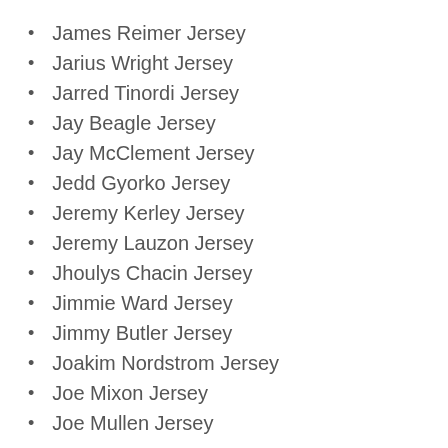James Reimer Jersey
Jarius Wright Jersey
Jarred Tinordi Jersey
Jay Beagle Jersey
Jay McClement Jersey
Jedd Gyorko Jersey
Jeremy Kerley Jersey
Jeremy Lauzon Jersey
Jhoulys Chacin Jersey
Jimmie Ward Jersey
Jimmy Butler Jersey
Joakim Nordstrom Jersey
Joe Mixon Jersey
Joe Mullen Jersey